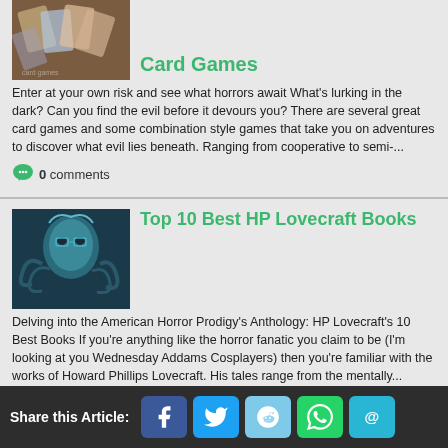Card Games
[Figure (photo): Photo of card games spread on a table]
Enter at your own risk and see what horrors await What's lurking in the dark? Can you find the evil before it devours you? There are several great card games and some combination style games that take you on adventures to discover what evil lies beneath. Ranging from cooperative to semi-...
0 comments
Top 10 Best HP Lovecraft Books
[Figure (photo): Illustrated portrait of HP Lovecraft with tentacles in blue tones]
Delving into the American Horror Prodigy's Anthology: HP Lovecraft's 10 Best Books If you're anything like the horror fanatic you claim to be (I'm looking at you Wednesday Addams Cosplayers) then you're familiar with the works of Howard Phillips Lovecraft. His tales range from the mentally...
0 comments
Share this Article: